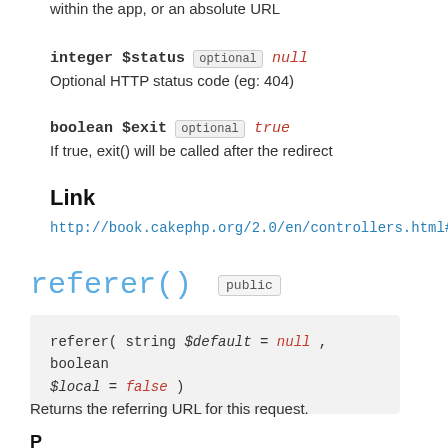within the app, or an absolute URL
integer $status optional null
Optional HTTP status code (eg: 404)
boolean $exit optional true
If true, exit() will be called after the redirect
Link
http://book.cakephp.org/2.0/en/controllers.html#Con
referer() public
referer( string $default = null , boolean $local = false )
Returns the referring URL for this request.
Parameters